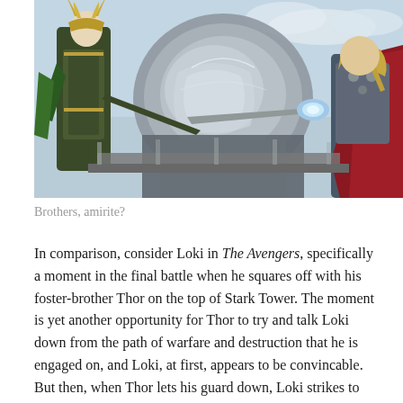[Figure (photo): Movie still from The Avengers showing Loki (left, in green and black armor with horned helmet, holding a scepter) facing off against Thor (right, in red cape and silver armor) on top of Stark Tower with a metallic dome structure in the background and blue sky.]
Brothers, amirite?
In comparison, consider Loki in The Avengers, specifically a moment in the final battle when he squares off with his foster-brother Thor on the top of Stark Tower. The moment is yet another opportunity for Thor to try and talk Loki down from the path of warfare and destruction that he is engaged on, and Loki, at first, appears to be convincable. But then, when Thor lets his guard down, Loki strikes to